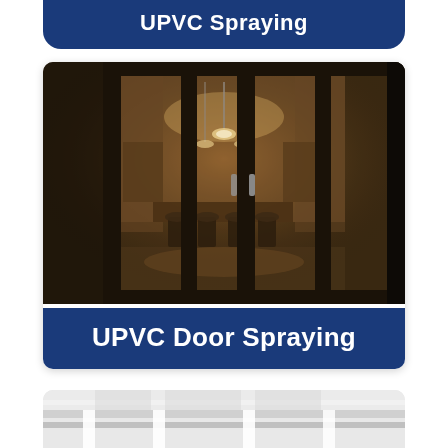UPVC Spraying
[Figure (photo): Dark-framed UPVC sliding/folding glass doors viewed from exterior at night, showing a warmly lit interior kitchen and dining area with pendant lights and bar stools]
UPVC Door Spraying
[Figure (photo): Partial bottom view of white UPVC window or door frame, partially cropped at bottom of page]